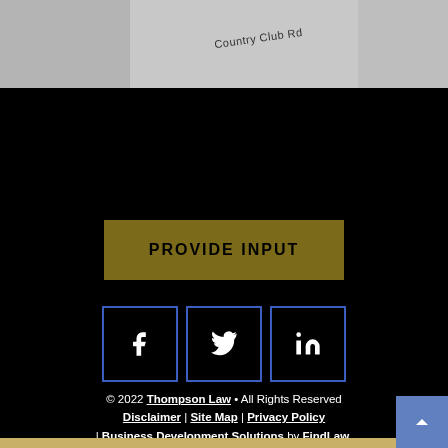[Figure (map): Street map background showing Country Club Rd label]
PROVIDE INPUT
[Figure (other): Social media icons: Facebook, Twitter, LinkedIn in blue-bordered boxes]
© 2022 Thompson Law • All Rights Reserved | Disclaimer | Site Map | Privacy Policy | Business Development Solutions by FindLaw, part of Thomson Reuters